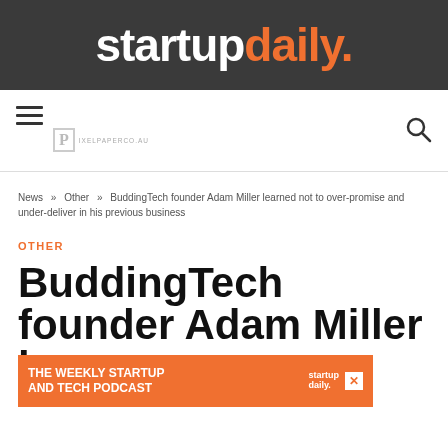startupdaily.
[Figure (logo): Hamburger menu icon and Pixelpaper.co.za logo with search icon on navigation bar]
News » Other » BuddingTech founder Adam Miller learned not to over-promise and under-deliver in his previous business
OTHER
BuddingTech founder Adam Miller l...
[Figure (infographic): Orange advertisement banner: THE WEEKLY STARTUP AND TECH PODCAST with startup daily logo and X close button]